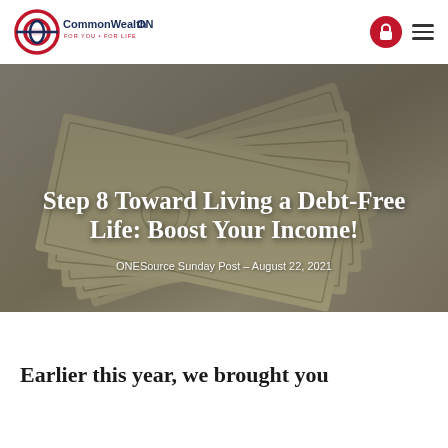CommonWealthONE FOR YOU · FOR LIFE
[Figure (photo): Hero banner image: fan of US dollar bills spread out on a light blue/grey textured surface, overlaid with semi-transparent dark tint]
Step 8 Toward Living a Debt-Free Life: Boost Your Income!
ONESource Sunday Post – August 22, 2021
Earlier this year, we brought you